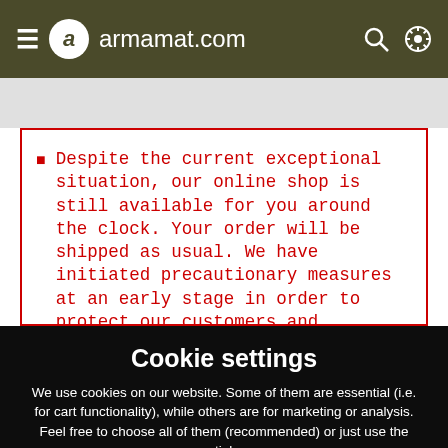armamat.com
Despite the current exceptional situation, our online shop is still available for you around the clock. Your order will be shipped as usual. We have initiated precautionary measures at an early stage in order to protect our customers and employees in the best possible way
Cookie settings
We use cookies on our website. Some of them are essential (i.e. for cart functionality), while others are for marketing or analysis. Feel free to choose all of them (recommended) or just use the essential ones.
Accept all cookies
Accept essential cookies
Refuse cookies